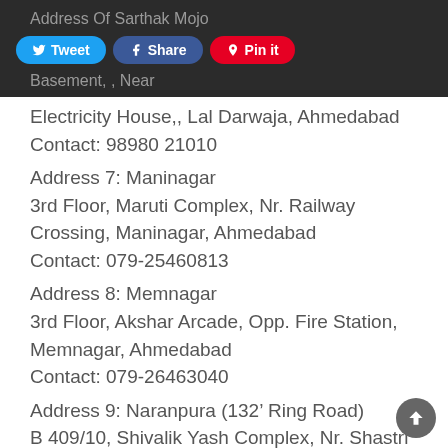Address Of Sarthak Mojo
Basement, Near Electricity House,, Lal Darwaja, Ahmedabad
Contact: 98980 21010
Address 7: Maninagar
3rd Floor, Maruti Complex, Nr. Railway Crossing, Maninagar, Ahmedabad
Contact: 079-25460813
Address 8: Memnagar
3rd Floor, Akshar Arcade, Opp. Fire Station, Memnagar, Ahmedabad
Contact: 079-26463040
Address 9: Naranpura (132’ Ring Road)
B 409/10, Shivalik Yash Complex, Nr. Shastri...